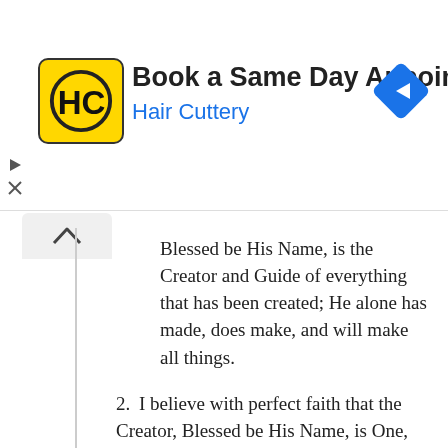[Figure (logo): Hair Cuttery ad banner with HC logo (yellow square with HC text and circle), title 'Book a Same Day Appointment', subtitle 'Hair Cuttery' in blue, and blue diamond navigation arrow icon on right]
Blessed be His Name, is the Creator and Guide of everything that has been created; He alone has made, does make, and will make all things.
2. I believe with perfect faith that the Creator, Blessed be His Name, is One, and that there is no unity in any manner